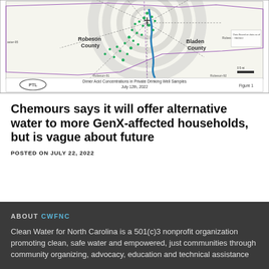[Figure (map): Map titled 'Dimer Acid Concentrations in Private Drinking Well Samples, July 12th, 2022, Figure 1'. Shows Robeson County and Bladen County with concentric circle overlays and green dots indicating well sample locations, a blue river/water feature, and purple boundary lines. PTL logo in bottom left.]
Dimer Acid Concentrations in Private Drinking Well Samples
July 12th, 2022
Figure 1
Chemours says it will offer alternative water to more GenX-affected households, but is vague about future
POSTED ON JULY 22, 2022
ABOUT CWFNC
Clean Water for North Carolina is a 501(c)3 nonprofit organization promoting clean, safe water and empowered, just communities through community organizing, advocacy, education and technical assistance